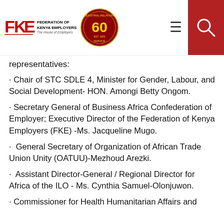[Figure (logo): Federation of Kenya Employers logo with FKE initials and 60th anniversary badge]
representatives:
· Chair of STC SDLE 4, Minister for Gender, Labour, and Social Development- HON. Amongi Betty Ongom.
· Secretary General of Business Africa Confederation of Employer; Executive Director of the Federation of Kenya Employers (FKE) -Ms. Jacqueline Mugo.
· General Secretary of Organization of African Trade Union Unity (OATUU)-Mezhoud Arezki.
· Assistant Director-General / Regional Director for Africa of the ILO - Ms. Cynthia Samuel-Olonjuwon.
· Commissioner for Health Humanitarian Affairs and